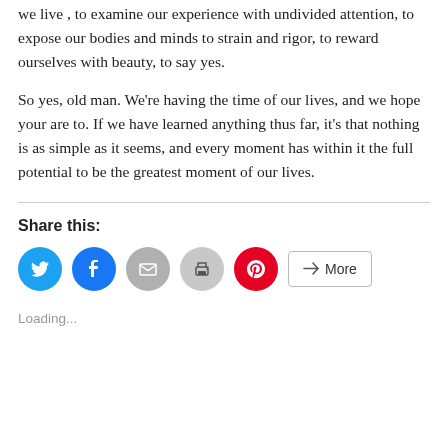we live , to examine our experience with undivided attention, to expose our bodies and minds to strain and rigor, to reward ourselves with beauty, to say yes.
So yes, old man. We're having the time of our lives, and we hope your are to. If we have learned anything thus far, it's that nothing is as simple as it seems, and every moment has within it the full potential to be the greatest moment of our lives.
Share this:
[Figure (infographic): Social share buttons: Twitter (blue circle), Facebook (blue circle), Email (gray circle), Print (gray circle), Pinterest (red circle), and a More button with share icon.]
Loading...